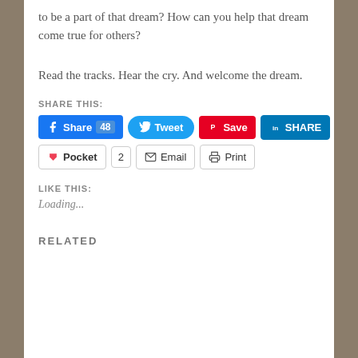to be a part of that dream? How can you help that dream come true for others?
Read the tracks. Hear the cry. And welcome the dream.
SHARE THIS:
[Figure (screenshot): Social sharing buttons row 1: Facebook Share 48, Tweet, Pinterest Save, LinkedIn SHARE]
[Figure (screenshot): Social sharing buttons row 2: Pocket 2, Email, Print]
LIKE THIS:
Loading...
RELATED